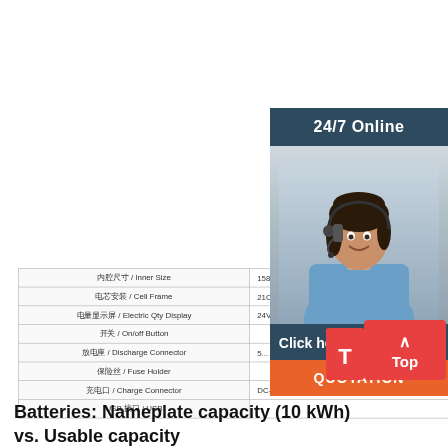|  |  |
| --- | --- |
| 内腔尺寸 / Inner Size | 158*84*... |
| 电芯安装 / Cell Frame | 21CF-... |
| 电量显示屏 / Electric Qty Display | 24V-... |
| 开关 / On/off Button |  |
| 放电座 / Discharge Connector | 5... |
| 保险丝 / Fuse Holder |  |
| 充电口 / Charge Connector | DC-... |
| USB 接口 / USB |  |
[Figure (photo): Customer service representative with headset, 24/7 Online support panel with chat and quotation button overlay]
[Figure (other): Red 'Top' scroll-to-top button with upward arrow]
Batteries: Nameplate capacity (10 kWh) vs. Usable capacity